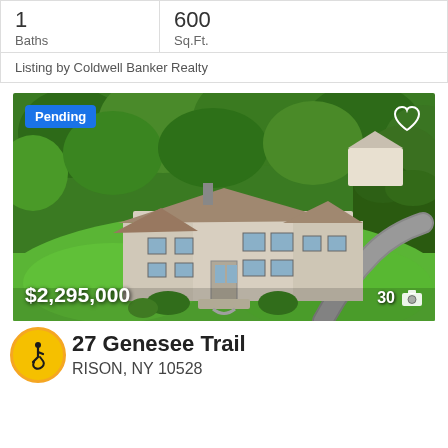| Baths | Sq.Ft. |
| --- | --- |
| 1 | 600 |
Listing by Coldwell Banker Realty
[Figure (photo): Aerial drone photo of a large two-story suburban home with brown roof, surrounded by dense green trees and manicured lawn with driveway. Badge: Pending. Price: $2,295,000. Photo count: 30.]
27 Genesee Trail
RISON, NY 10528